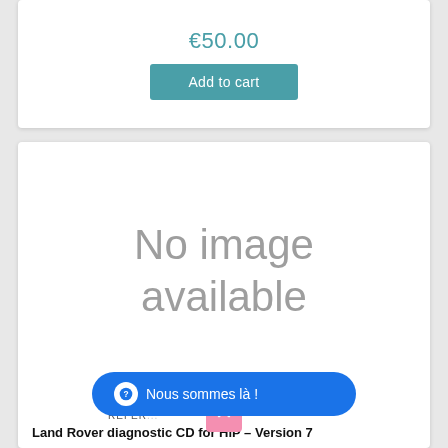€50.00
Add to cart
[Figure (other): No image available placeholder box]
REFER...
Land Rover diagnostic CD for HiP – Version 7
? Nous sommes là !